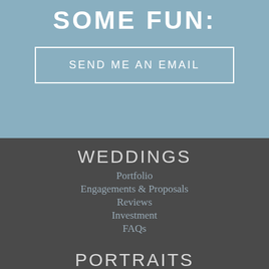SOME FUN:
SEND ME AN EMAIL
WEDDINGS
Portfolio
Engagements & Proposals
Reviews
Investment
FAQs
PORTRAITS
High School Seniors
Family
Fitness